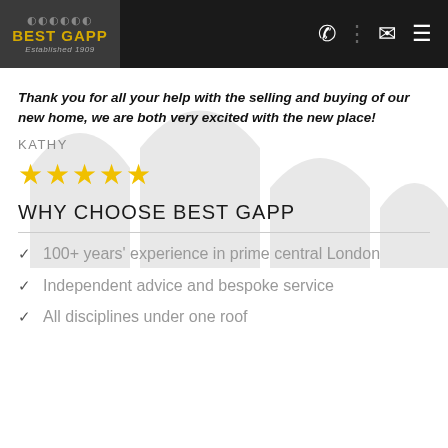BEST GAPP — Established 1909
Thank you for all your help with the selling and buying of our new home, we are both very excited with the new place!
KATHY
[Figure (other): Five yellow star rating]
WHY CHOOSE BEST GAPP
100+ years' experience in prime central London
Independent advice and bespoke service
All disciplines under one roof